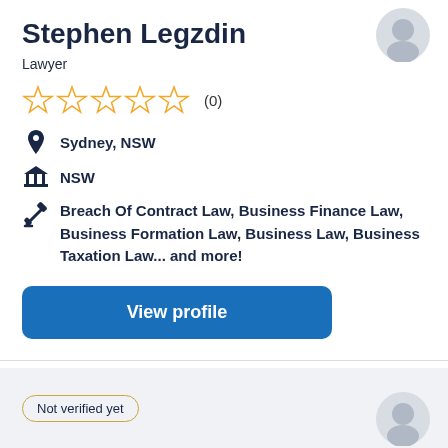[Figure (illustration): Gray placeholder avatar circle, top right]
Stephen Legzdin
Lawyer
[Figure (infographic): Five empty star rating icons in gold/yellow color]
(0)
Sydney, NSW
NSW
Breach Of Contract Law, Business Finance Law, Business Formation Law, Business Law, Business Taxation Law... and more!
View profile
Not verified yet
[Figure (illustration): Gray placeholder avatar circle, bottom right]